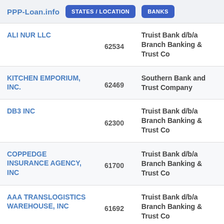PPP-Loan.info  STATES / LOCATION  BANKS
| Company | Amount | Bank |
| --- | --- | --- |
| ALI NUR LLC | 62534 | Truist Bank d/b/a Branch Banking & Trust Co |
| KITCHEN EMPORIUM, INC. | 62469 | Southern Bank and Trust Company |
| DB3 INC | 62300 | Truist Bank d/b/a Branch Banking & Trust Co |
| COPPEDGE INSURANCE AGENCY, INC | 61700 | Truist Bank d/b/a Branch Banking & Trust Co |
| AAA TRANSLOGISTICS WAREHOUSE, INC | 61692 | Truist Bank d/b/a Branch Banking & Trust Co |